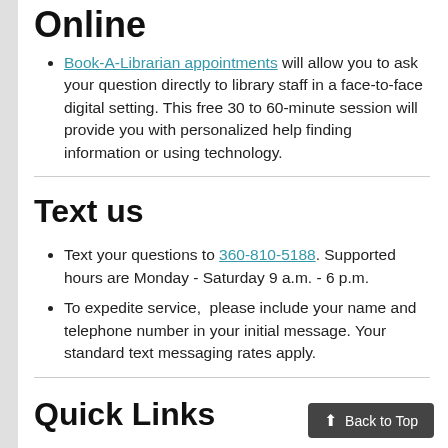Online
Book-A-Librarian appointments will allow you to ask your question directly to library staff in a face-to-face digital setting. This free 30 to 60-minute session will provide you with personalized help finding information or using technology.
Text us
Text your questions to 360-810-5188. Supported hours are Monday - Saturday 9 a.m. - 6 p.m.
To expedite service,  please include your name and telephone number in your initial message. Your standard text messaging rates apply.
Quick Links